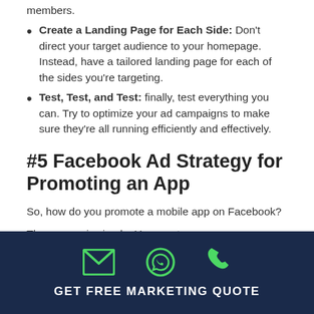members.
Create a Landing Page for Each Side: Don't direct your target audience to your homepage. Instead, have a tailored landing page for each of the sides you're targeting.
Test, Test, and Test: finally, test everything you can. Try to optimize your ad campaigns to make sure they're all running efficiently and effectively.
#5 Facebook Ad Strategy for Promoting an App
So, how do you promote a mobile app on Facebook?
The answer is simple: You create an app promo
GET FREE MARKETING QUOTE